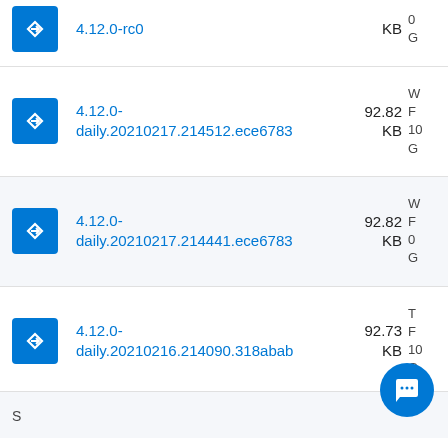| Icon | Version | Size | Info |
| --- | --- | --- | --- |
| [icon] | 4.12.0-rc0 | KB | 0
G |
| [icon] | 4.12.0-daily.20210217.214512.ece6783 | 92.82 KB | W
F
10
G |
| [icon] | 4.12.0-daily.20210217.214441.ece6783 | 92.82 KB | W
F
0
G |
| [icon] | 4.12.0-daily.20210216.214090.318abab | 92.73 KB | T
F
10
G |